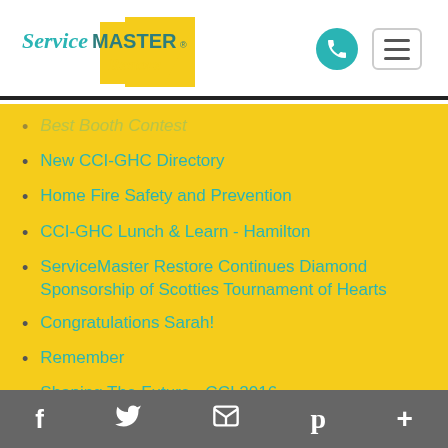[Figure (logo): ServiceMaster Restore logo with yellow triangle and teal/green text]
Best Booth Contest
New CCI-GHC Directory
Home Fire Safety and Prevention
CCI-GHC Lunch & Learn - Hamilton
ServiceMaster Restore Continues Diamond Sponsorship of Scotties Tournament of Hearts
Congratulations Sarah!
Remember
Shaping The Future - CCI 2016
f  Twitter  Email  Pinterest  +